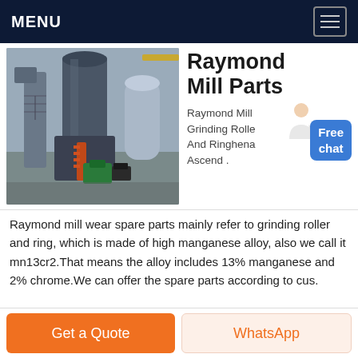MENU
Raymond Mill Parts
[Figure (photo): Industrial Raymond Mill machine with large cylindrical tower, pipes, and mechanical components in a factory setting]
Raymond Mill Grinding Roller And Ringhena Ascend . Raymond mill wear spare parts mainly refer to grinding roller and ring, which is made of high manganese alloy, also we call it mn13cr2.That means the alloy includes 13% manganese and 2% chrome.We can offer the spare parts according to cus.
Get a Quote
WhatsApp